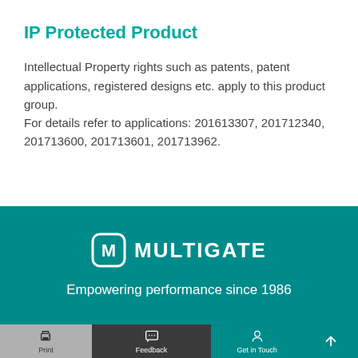IP Protected Product
Intellectual Property rights such as patents, patent applications, registered designs etc. apply to this product group.
For details refer to applications: 201613307, 201712340, 201713600, 201713601, 201713962.
[Figure (logo): Multigate logo with M icon inside rounded square and text MULTIGATE]
Empowering performance since 1986
Print | Feedback | Get in Touch | (up arrow)